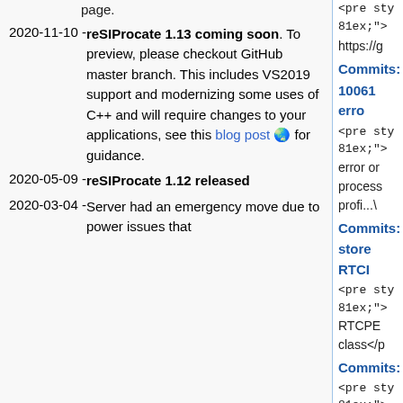page.
2020-11-10 - reSIProcate 1.13 coming soon. To preview, please checkout GitHub master branch. This includes VS2019 support and modernizing some uses of C++ and will require changes to your applications, see this blog post for guidance.
2020-05-09 - reSIProcate 1.12 released
2020-03-04 - Server had an emergency move due to power issues that
<pre sty 81ex;"> https://g
Commits:
10061 erro
<pre sty 81ex;"> error or process profi...\
Commits:
store RTCI
<pre sty 81ex;"> RTCPE class</p
Commits:
<pre sty 81ex;">